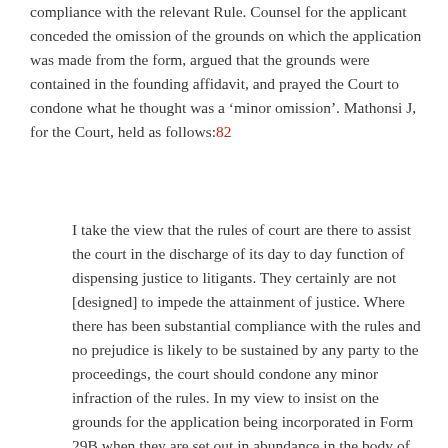compliance with the relevant Rule. Counsel for the applicant conceded the omission of the grounds on which the application was made from the form, argued that the grounds were contained in the founding affidavit, and prayed the Court to condone what he thought was a 'minor omission'. Mathonsi J, for the Court, held as follows:82
I take the view that the rules of court are there to assist the court in the discharge of its day to day function of dispensing justice to litigants. They certainly are not [designed] to impede the attainment of justice. Where there has been substantial compliance with the rules and no prejudice is likely to be sustained by any party to the proceedings, the court should condone any minor infraction of the rules. In my view to insist on the grounds for the application being incorporated in Form 29B when they are set out in abundance in the body of the application, is to worry more about